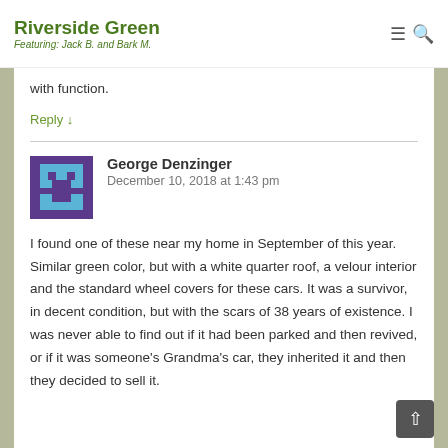Riverside Green
Featuring: Jack B. and Bark M.
with function.
Reply ↓
George Denzinger
December 10, 2018 at 1:43 pm
I found one of these near my home in September of this year. Similar green color, but with a white quarter roof, a velour interior and the standard wheel covers for these cars. It was a survivor, in decent condition, but with the scars of 38 years of existence. I was never able to find out if it had been parked and then revived, or if it was someone's Grandma's car, they inherited it and then they decided to sell it.